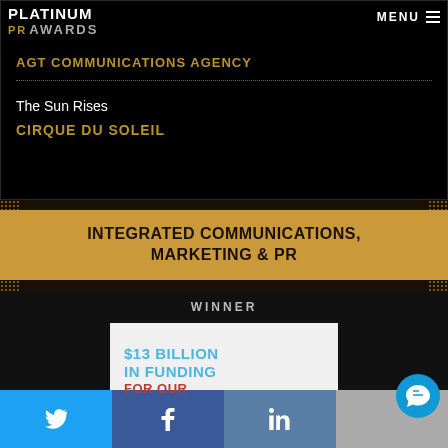PLATINUM PR AWARDS | MENU
AGT COMMUNICATIONS AGENCY
The Sun Rises
CIRQUE DU SOLEIL
INTEGRATED COMMUNICATIONS, MARKETING & PR
WINNER
[Figure (other): Award winner image card showing '$13 BILLION IN FUNDING FOR OUR...' in blue and red text on white background]
Social media links: Twitter, Facebook, LinkedIn, Chat